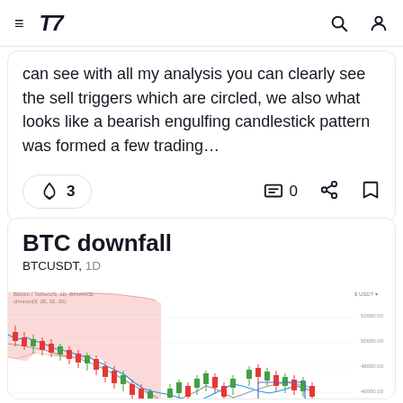TradingView navigation bar with hamburger menu, logo '17', search icon, and user icon
can see with all my analysis you can clearly see the sell triggers which are circled, we also what looks like a bearish engulfing candlestick pattern was formed a few trading…
BTC downfall
BTCUSDT, 1D
[Figure (continuous-plot): Bitcoin/TetherUS 1D BINANCE candlestick chart showing a downfall trend. Large red shaded area (Ichimoku cloud) at top left indicating bearish territory, price declining from around 52000 to 42000 level, with small candlestick bars. Green shaded area visible at bottom right. Price labels on right axis: 52000, 50000, 48000, 46000, 44000, 42000.]